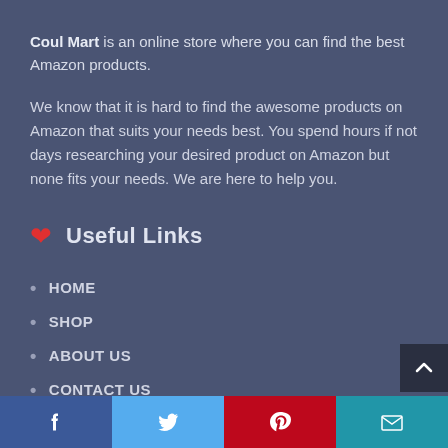Coul Mart is an online store where you can find the best Amazon products.
We know that it is hard to find the awesome products on Amazon that suits your needs best. You spend hours if not days researching your desired product on Amazon but none fits your needs. We are here to help you.
Useful Links
HOME
SHOP
ABOUT US
CONTACT US
BLOG
Facebook | Twitter | Pinterest | Email